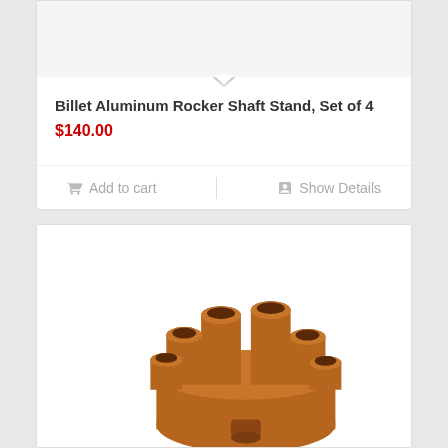Billet Aluminum Rocker Shaft Stand, Set of 4
$140.00
Add to cart
Show Details
[Figure (photo): Photo of a brown/tan colored distributor cap with six cylindrical towers, viewed from above at an angle, showing the top portion of the cap]